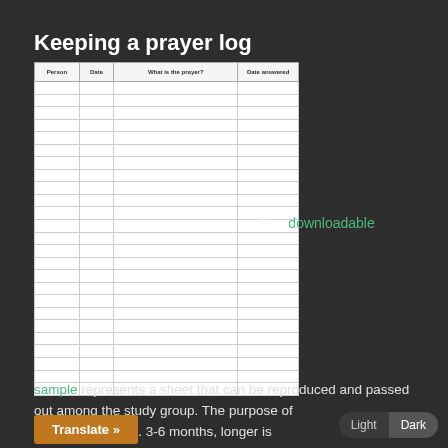Keeping a prayer log
| Person | Date | What is the prayer? | Date answered |
| --- | --- | --- | --- |
|  |  |  |  |
|  |  |  |  |
|  |  |  |  |
|  |  |  |  |
|  |  |  |  |
|  |  |  |  |
|  |  |  |  |
|  |  |  |  |
|  |  |  |  |
|  |  |  |  |
|  |  |  |  |
|  |  |  |  |
|  |  |  |  |
|  |  |  |  |
|  |  |  |  |
|  |  |  |  |
|  |  |  |  |
|  |  |  |  |
|  |  |  |  |
|  |  |  |  |
|  |  |  |  |
|  |  |  |  |
|  |  |  |  |
|  |  |  |  |
|  |  |  |  |
This downloadable sample represents a sheet that can be reproduced and passed out among the study group. The purpose of log over time (e.g. 3-6 months, longer is